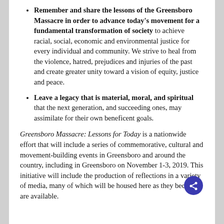Remember and share the lessons of the Greensboro Massacre in order to advance today's movement for a fundamental transformation of society to achieve racial, social, economic and environmental justice for every individual and community. We strive to heal from the violence, hatred, prejudices and injuries of the past and create greater unity toward a vision of equity, justice and peace.
Leave a legacy that is material, moral, and spiritual that the next generation, and succeeding ones, may assimilate for their own beneficent goals.
Greensboro Massacre: Lessons for Today is a nationwide effort that will include a series of commemorative, cultural and movement-building events in Greensboro and around the country, including in Greensboro on November 1-3, 2019. This initiative will include the production of reflections in a variety of media, many of which will be housed here as they become are available.